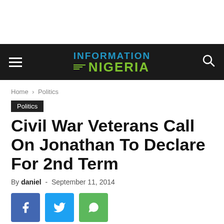INFORMATION NIGERIA
Home › Politics
Politics
Civil War Veterans Call On Jonathan To Declare For 2nd Term
By daniel - September 11, 2014